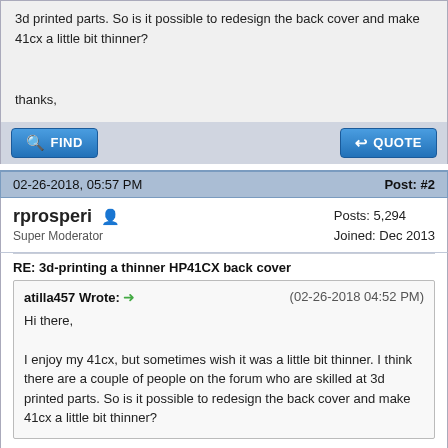3d printed parts. So is it possible to redesign the back cover and make 41cx a little bit thinner?

thanks,
[Figure (screenshot): FIND and QUOTE buttons at the bottom of a forum post]
02-26-2018, 05:57 PM
Post: #2
rprosperi
Super Moderator
Posts: 5,294
Joined: Dec 2013
RE: 3d-printing a thinner HP41CX back cover
atilla457 Wrote: → (02-26-2018 04:52 PM)
Hi there,

I enjoy my 41cx, but sometimes wish it was a little bit thinner. I think there are a couple of people on the forum who are skilled at 3d printed parts. So is it possible to redesign the back cover and make 41cx a little bit thinner?
While feasible to make the lower portion a small amount thinner (perhaps 1-2mm as it sits just above the CPU board), the thickness of the upper portion cannot be reduced because of the ports for the 4 x ROM/RAM modules. And since that cannot be